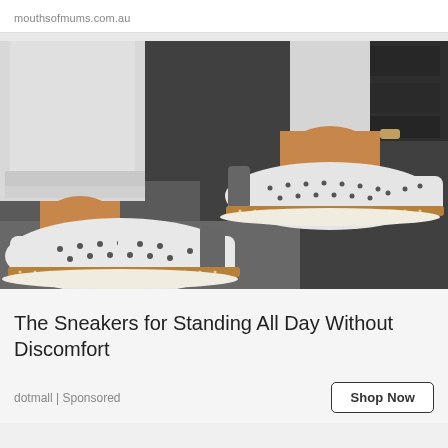mouthsofmums.com.au
[Figure (photo): Close-up photo of a person wearing white perforated espadrille sneakers with tan/camel rope sole trim and grey back panel, standing on dark pavement. The person is wearing white rolled-up jeans.]
The Sneakers for Standing All Day Without Discomfort
dotmall | Sponsored